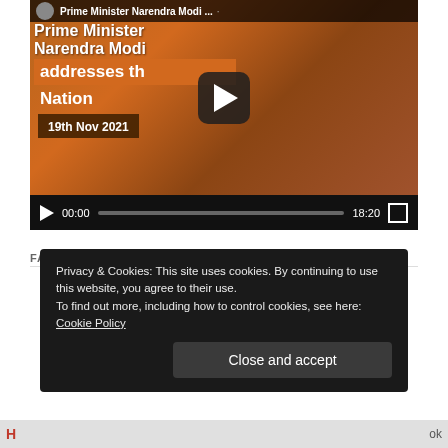[Figure (screenshot): YouTube video thumbnail showing Prime Minister Narendra Modi with namaste gesture in front of Indian flag, with overlay text 'Prime Minister Narendra Modi addresses the Nation 19th Nov 2021', video player controls showing 00:00 / 18:20]
FACEBOOK PAGE
Privacy & Cookies: This site uses cookies. By continuing to use this website, you agree to their use.
To find out more, including how to control cookies, see here: Cookie Policy
Close and accept